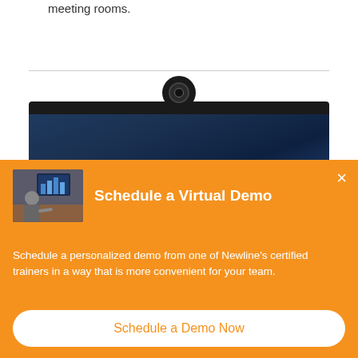meeting rooms.
[Figure (photo): Close-up of a video conferencing bar device with webcam on top, dark speaker grille, and blue screen display]
Schedule a Virtual Demo
Schedule a personalized demo from one of Newline's certified trainers in a way that is more convenient for your team.
Schedule a Demo Now